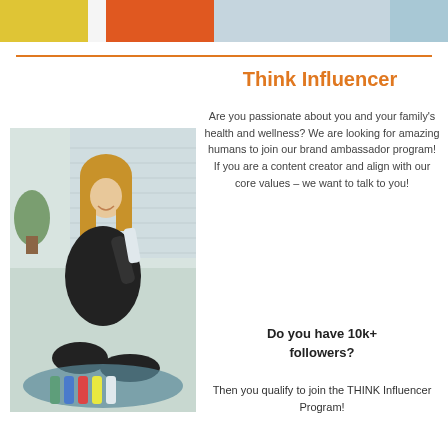[Figure (photo): Top strip of product images: yellow, orange, and light blue/grey backgrounds with product packaging partially visible]
Think Influencer
[Figure (photo): Woman in black outfit sitting cross-legged on a yoga mat holding a tube product, with several colorful product tubes arranged in front of her, near a window with plants]
Are you passionate about you and your family's health and wellness? We are looking for amazing humans to join our brand ambassador program! If you are a content creator and align with our core values – we want to talk to you!
Do you have 10k+ followers? Then you qualify to join the THINK Influencer Program!